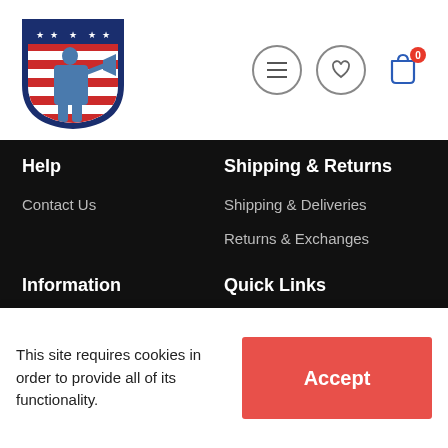[Figure (logo): Shield-shaped logo with American patriot soldier holding megaphone, red and white stripes background, stars across top, dark blue border]
[Figure (illustration): Navigation icons: hamburger menu circle, heart/wishlist circle, shopping bag with red badge showing 0]
Help
Contact Us
Shipping & Returns
Shipping & Deliveries
Returns & Exchanges
Information
Terms Of Use
Quick Links
Men
This site requires cookies in order to provide all of its functionality.